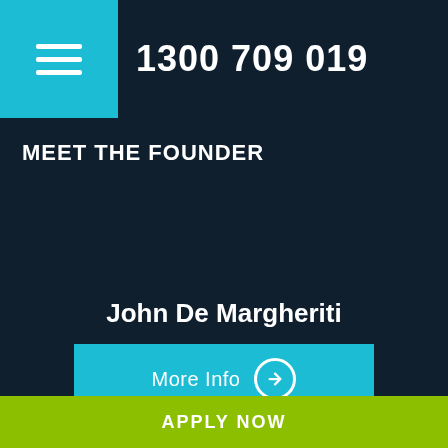1300 709 019
MEET THE FOUNDER
John De Margheriti
More Info
APPLY NOW